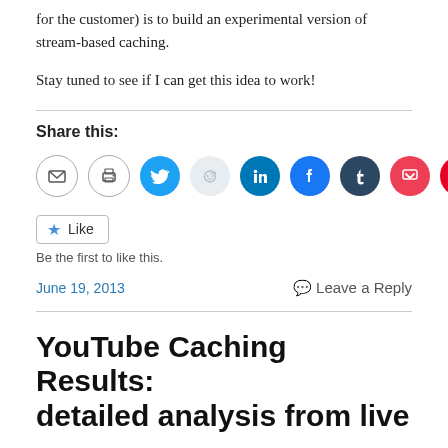for the customer) is to build an experimental version of stream-based caching.
Stay tuned to see if I can get this idea to work!
Share this:
[Figure (infographic): Row of nine social sharing icon circles: email, print, Twitter, Reddit, LinkedIn, Facebook, Tumblr, Pocket, Pinterest]
Like
Be the first to like this.
June 19, 2013
Leave a Reply
YouTube Caching Results: detailed analysis from live